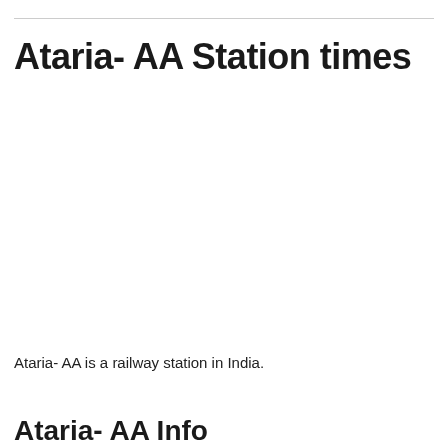Ataria- AA Station times
Ataria- AA is a railway station in India.
Ataria- AA Info